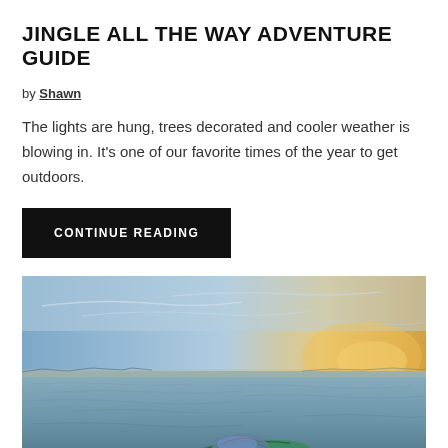JINGLE ALL THE WAY ADVENTURE GUIDE
by Shawn
The lights are hung, trees decorated and cooler weather is blowing in. It’s one of our favorite times of the year to get outdoors.
CONTINUE READING
[Figure (photo): A person lying on the bow of a kayak or small boat on open water during a golden sunset, with a distant shoreline and city skyline visible on the horizon.]